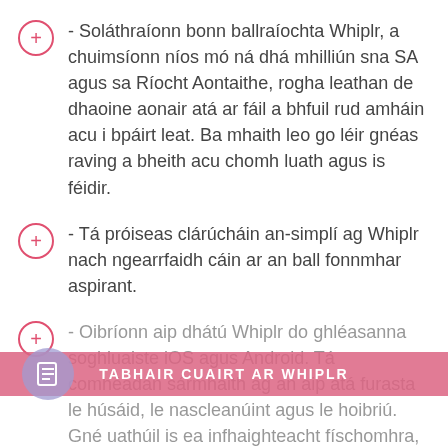- Soláthraíonn bonn ballraíochta Whiplr, a chuimsíonn níos mó ná dhá mhilliún sna SA agus sa Ríocht Aontaithe, rogha leathan de dhaoine aonair atá ar fáil a bhfuil rud amháin acu i bpáirt leat. Ba mhaith leo go léir gnéas raving a bheith acu chomh luath agus is féidir.
- Tá próiseas clárúcháin an-simplí ag Whiplr nach ngearrfaidh cáin ar an ball fonnmhar aspirant.
- Oibríonn aip dhátú Whiplr do ghléasanna soghluaiste iOS agus Android. Tá comhéadan sármhaith ag an aip atá furasta le húsáid, le nascleanúint agus le hoibriú. Gné uathúil is ea infhaighteacht físchomhra, rud atá fíor-annamh in aipeanna dátaithe. Feabhsaíonn